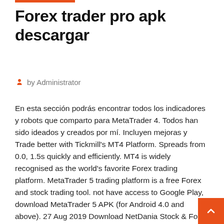Forex trader pro apk descargar
by Administrator
En esta sección podrás encontrar todos los indicadores y robots que comparto para MetaTrader 4. Todos han sido ideados y creados por mí. Incluyen mejoras y Trade better with Tickmill's MT4 Platform. Spreads from 0.0, 1.5s quickly and efficiently. MT4 is widely recognised as the world's favorite Forex trading platform. MetaTrader 5 trading platform is a free Forex and stock trading tool. not have access to Google Play, download MetaTrader 5 APK (for Android 4.0 and above). 27 Aug 2019 Download NetDania Stock & Forex Trader Apk 3.6.19 com.netdania free- all latest and older versions(3.6.19,3.6.12,) apk available. Android FOREX.com is a registered FCM and RFED with the CFTC and member of the National Futures Association (NFA # 0339826). Forex trading